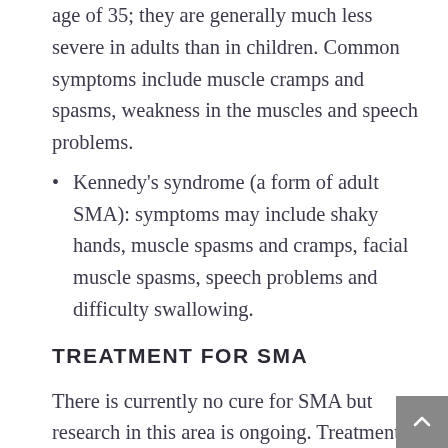age of 35; they are generally much less severe in adults than in children. Common symptoms include muscle cramps and spasms, weakness in the muscles and speech problems.
Kennedy's syndrome (a form of adult SMA): symptoms may include shaky hands, muscle spasms and cramps, facial muscle spasms, speech problems and difficulty swallowing.
TREATMENT FOR SMA
There is currently no cure for SMA but research in this area is ongoing. Treatments can be offered to help with some of the symptoms of SMA; often physiotherapy is used to help with breathing, improve muscle tone and gradually increase the range of movement around the joints. Babies that have difficulty feeding because they find it hard to swallow are usually fed through a tube. Patients with SMA are encouraged to exercise regularly; exercise is often